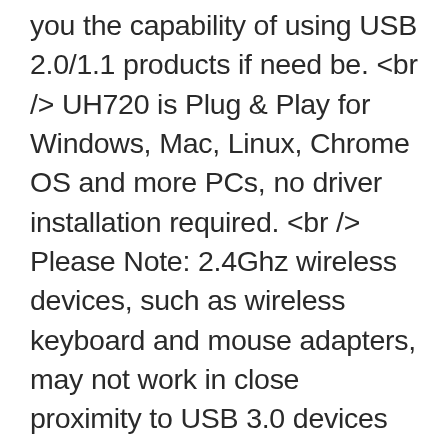you the capability of using USB 2.0/1.1 products if need be. <br /> UH720 is Plug & Play for Windows, Mac, Linux, Chrome OS and more PCs, no driver installation required. <br /> Please Note: 2.4Ghz wireless devices, such as wireless keyboard and mouse adapters, may not work in close proximity to USB 3.0 devices or hubs. Connecting to a USB 2.0 port is recommended. <br /> The non-charging ports are intended for data transfer only. They provide insufficient power output for charging. And the charging port are for charge only, will not work for data sync. Ensure that the adapter is connected before using this hub. And for best performance please connect it to the USB 3.0 port of your PC." Interface Available: 7 USB 3.0 Standard A 2 2.4A Charging Ports, 1 USB 3.0 Micro B